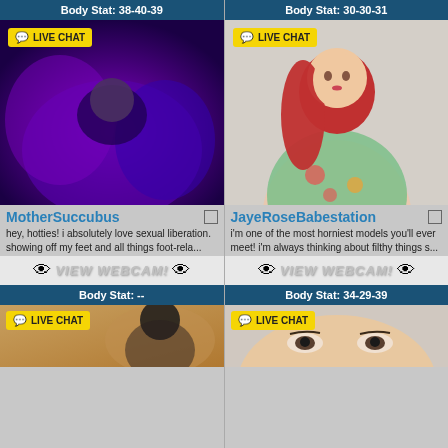Body Stat: 38-40-39
Body Stat: 30-30-31
[Figure (photo): Live webcam thumbnail, purple/dark background, person visible]
[Figure (photo): Live webcam thumbnail, woman with red hair in floral dress]
MotherSuccubus
JayeRoseBabestation
hey, hotties! i absolutely love sexual liberation. showing off my feet and all things foot-rela...
i'm one of the most horniest models you'll ever meet! i'm always thinking about filthy things s...
VIEW WEBCAM!
VIEW WEBCAM!
Body Stat: --
Body Stat: 34-29-39
[Figure (photo): Live webcam thumbnail, person on warm-toned background]
[Figure (photo): Live webcam thumbnail, close-up of woman's face]